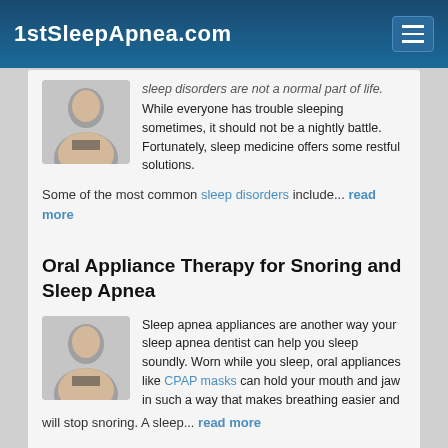1stSleepApnea.com
sleep disorders are not a normal part of life. While everyone has trouble sleeping sometimes, it should not be a nightly battle. Fortunately, sleep medicine offers some restful solutions.
Some of the most common sleep disorders include... read more
Oral Appliance Therapy for Snoring and Sleep Apnea
Sleep apnea appliances are another way your sleep apnea dentist can help you sleep soundly. Worn while you sleep, oral appliances like CPAP masks can hold your mouth and jaw in such a way that makes breathing easier and will stop snoring. A sleep... read more